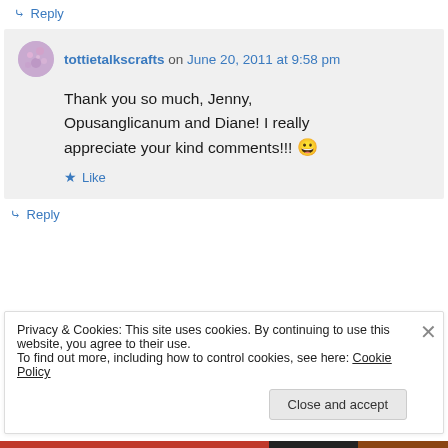↳ Reply
tottietalkscrafts on June 20, 2011 at 9:58 pm
Thank you so much, Jenny, Opusanglicanum and Diane! I really appreciate your kind comments!!! 😀
★ Like
↳ Reply
Privacy & Cookies: This site uses cookies. By continuing to use this website, you agree to their use.
To find out more, including how to control cookies, see here: Cookie Policy
Close and accept